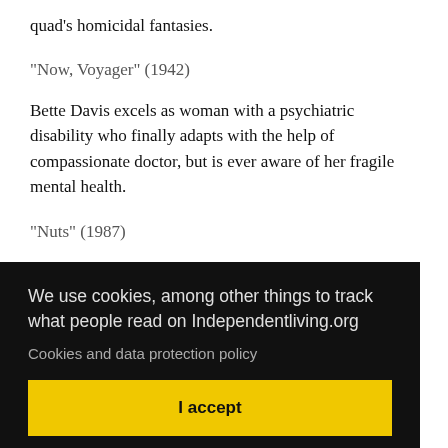quad's homicidal fantasies.
"Now, Voyager" (1942)
Bette Davis excels as woman with a psychiatric disability who finally adapts with the help of compassionate doctor, but is ever aware of her fragile mental health.
"Nuts" (1987)
Good portrayal of someone who is labeled "mentally ill" and [partially obscured]
We use cookies, among other things to track what people read on Independentliving.org
Cookies and data protection policy
I accept
t is
A is
for his